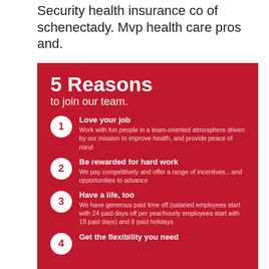Security health insurance co of schenectady. Mvp health care pros and.
5 Reasons to join our team.
1. Love your job — Work with fun people in a team-oriented atmosphere driven by our mission to improve health, and provide peace of mind
2. Be rewarded for hard work — We pay competitively and offer a range of incentives…and opportunities to advance
3. Have a life, too — We have generous paid time off (salaried employees start with 24 paid days off per year/hourly employees start with 19 paid days) and 8 paid holidays
4. Get the flexibility you need